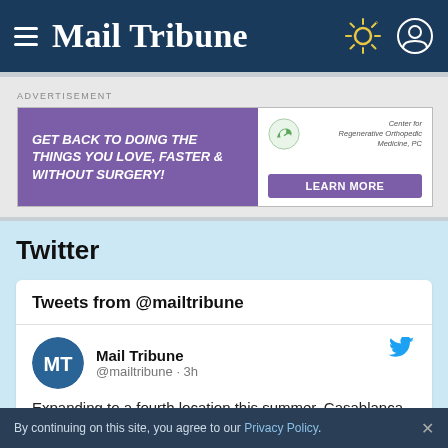Mail Tribune
ADVERTISEMENT
[Figure (other): Advertisement banner for Center for Regenerative Orthopedic Medicine, PC with text GET BACK TO DOING THE THINGS YOU LOVE, FASTER & WITHOUT SURGERY! and a LEARN MORE button]
Twitter
Tweets from @mailtribune
Mail Tribune @mailtribune · 3h
Expanding to a fourth location this summer, Casablanca Coffee and Grill is growing its fan
By continuing on this site, you agree to our Privacy Policy.